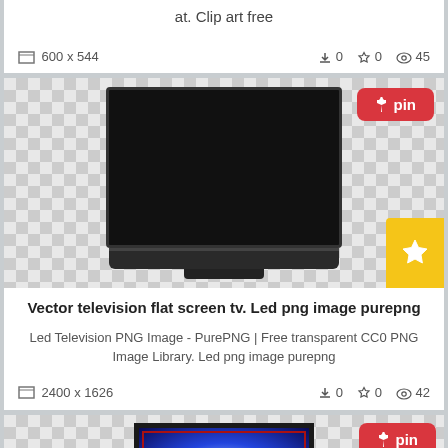at. Clip art free
600 x 544   ⬇0  ☆0  👁45
[Figure (illustration): Flat screen TV / LED television on transparent checkerboard background with pin button]
Vector television flat screen tv. Led png image purepng
Led Television PNG Image - PurePNG | Free transparent CC0 PNG Image Library. Led png image purepng
2400 x 1626   ⬇0  ☆0  👁42
[Figure (illustration): Monitor/TV with blue radial glow screen on transparent checkerboard background with pin button]